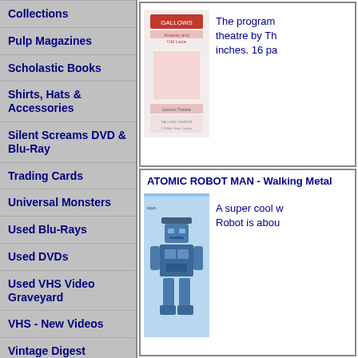Collections
Pulp Magazines
Scholastic Books
Shirts, Hats & Accessories
Silent Screams DVD & Blu-Ray
Trading Cards
Universal Monsters
Used Blu-Rays
Used DVDs
Used VHS Video Graveyard
VHS - New Videos
Vintage Digest Magazines
Vinyl Records
[Figure (photo): Program booklet for Arsenic and Old Lace theatre production]
The program theatre by Th inches. 16 pa
ATOMIC ROBOT MAN - Walking Metal
[Figure (photo): Blue walking robot toy - Atomic Robot Man]
A super cool w Robot is abou